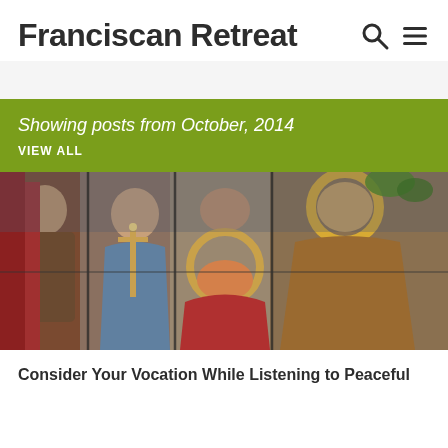Franciscan Retreat
Showing posts from October, 2014
VIEW ALL
[Figure (photo): Stained glass artwork depicting Franciscan saints and religious figures, with halos, robes, and a cross.]
Consider Your Vocation While Listening to Peaceful